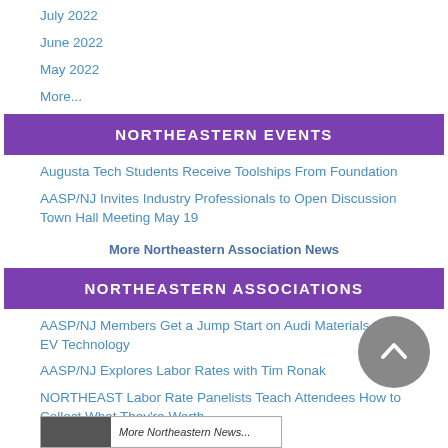July 2022
June 2022
May 2022
More...
NORTHEASTERN EVENTS
Augusta Tech Students Receive Toolships From Foundation
AASP/NJ Invites Industry Professionals to Open Discussion Town Hall Meeting May 19
More Northeastern Association News
NORTHEASTERN ASSOCIATIONS
AASP/NJ Members Get a Jump Start on Audi Materials and EV Technology
AASP/NJ Explores Labor Rates with Tim Ronak
NORTHEAST Labor Rate Panelists Teach Attendees How to Collect What They're Worth